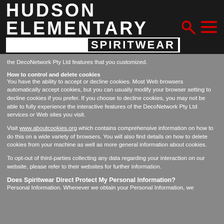HUDSON ELEMENTARY SPIRITWEAR
the DecoNetwork Pty Ltd features that you customized.
How to control and delete cookies
You have the ability to accept or decline cookies. Most Web browsers automatically accept cookies, but you can usually modify your browser setting to decline cookies if you prefer. If you choose to decline cookies, you may not be able to fully experience the interactive features of the DecoNetwork Pty Ltd services or Web sites you visit.
Visit www.aboutcookies.org which contains comprehensive information on how to do this on a wide variety of browsers. You will also find details on how to delete cookies from your machine as well as more general information about cookies.
To opt-out of third-parties collecting any data regarding your interaction on our website, please refer to their websites for further information.
Does Spiritwear Direct Protect My Personal Information?
Personal Information. Whenever we obtain your Personal Information, we